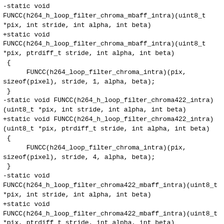-static void FUNCC(h264_h_loop_filter_chroma_mbaff_intra)(uint8_t *pix, int stride, int alpha, int beta)
+static void FUNCC(h264_h_loop_filter_chroma_mbaff_intra)(uint8_t *pix, ptrdiff_t stride, int alpha, int beta)
 {
      FUNCC(h264_loop_filter_chroma_intra)(pix,
sizeof(pixel), stride, 1, alpha, beta);
 }
-static void FUNCC(h264_h_loop_filter_chroma422_intra)(uint8_t *pix, int stride, int alpha, int beta)
+static void FUNCC(h264_h_loop_filter_chroma422_intra)(uint8_t *pix, ptrdiff_t stride, int alpha, int beta)
 {
      FUNCC(h264_loop_filter_chroma_intra)(pix,
sizeof(pixel), stride, 4, alpha, beta);
 }
-static void FUNCC(h264_h_loop_filter_chroma422_mbaff_intra)(uint8_t *pix, int stride, int alpha, int beta)
+static void FUNCC(h264_h_loop_filter_chroma422_mbaff_intra)(uint8_t *pix, ptrdiff_t stride, int alpha, int beta)
 {
      FUNCC(h264_loop_filter_chroma_intra)(pix,
sizeof(pixel), stride, 2, alpha, beta);
 }
diff --git a/libavcodec/x86/h264dsp_init.c b/libavcodec/x86/h264dsp_init.c